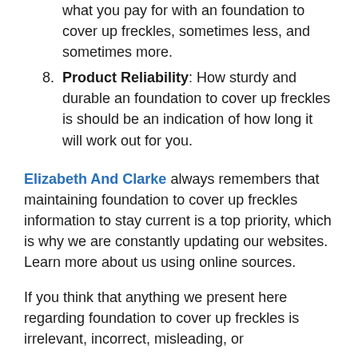what you pay for with an foundation to cover up freckles, sometimes less, and sometimes more.
Product Reliability: How sturdy and durable an foundation to cover up freckles is should be an indication of how long it will work out for you.
Elizabeth And Clarke always remembers that maintaining foundation to cover up freckles information to stay current is a top priority, which is why we are constantly updating our websites. Learn more about us using online sources.
If you think that anything we present here regarding foundation to cover up freckles is irrelevant, incorrect, misleading, or